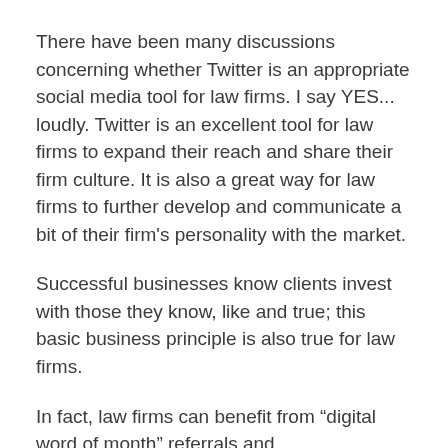There have been many discussions concerning whether Twitter is an appropriate social media tool for law firms. I say YES... loudly. Twitter is an excellent tool for law firms to expand their reach and share their firm culture. It is also a great way for law firms to further develop and communicate a bit of their firm's personality with the market.
Successful businesses know clients invest with those they know, like and true; this basic business principle is also true for law firms.
In fact, law firms can benefit from “digital word of month” referrals and recommendations based on this solid business principle by using Twitter to:
1. Share updates about pro bono wins;
2. Share information about community